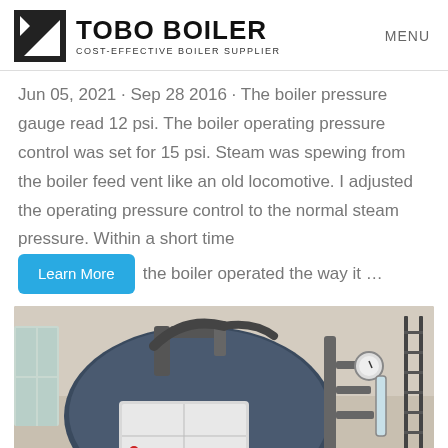TOBO BOILER — COST-EFFECTIVE BOILER SUPPLIER | MENU
Jun 05, 2021 · Sep 28 2016 · The boiler pressure gauge read 12 psi. The boiler operating pressure control was set for 15 psi. Steam was spewing from the boiler feed vent like an old locomotive. I adjusted the operating pressure control to the normal steam pressure. Within a short time the boiler operated the way it …
[Figure (photo): Industrial boiler unit with pipes and gauges inside a facility, labeled 方快锅炉 (Fangkuai Boiler)]